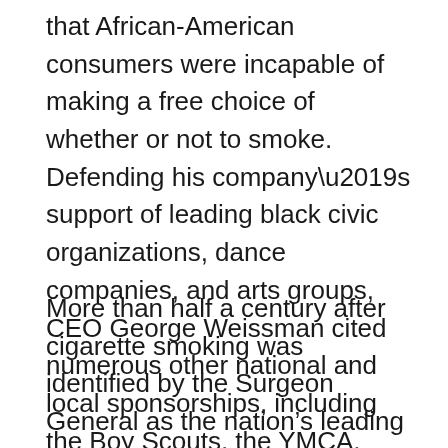that African-American consumers were incapable of making a free choice of whether or not to smoke. Defending his company’s support of leading black civic organizations, dance companies, and arts groups, CEO George Weissman cited numerous other national and local sponsorships, including the Boy Scouts, the YMCA, museums, and hospitals. In other words, “We advertise to everybody.”
More than half a century after cigarette smoking was identified by the Surgeon General as the nation’s leading preventable cause of death and disease, far more funding is still spent on repetitive or